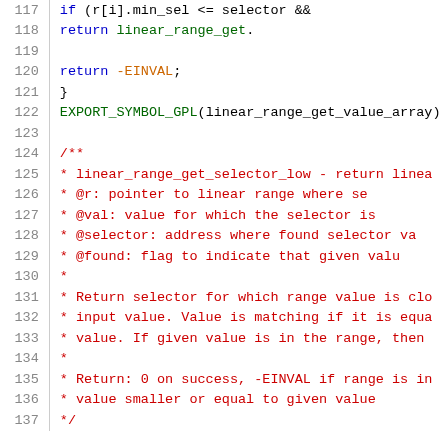[Figure (screenshot): Source code listing in C, lines 117-137, showing code with syntax highlighting. Line numbers in gray on left, code in right column. Keywords in blue, comments in dark red, macros/constants in orange/yellow-green.]